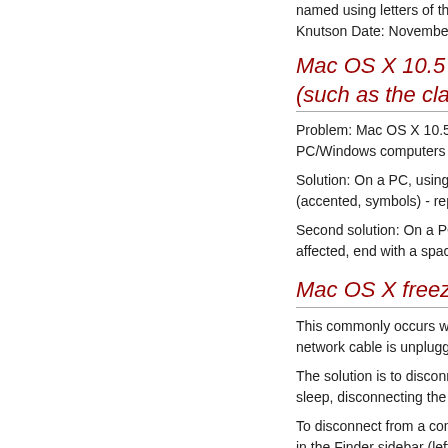The student should ensure the named using letters of the Eng Knutson Date: November 16, 2
Mac OS X 10.5 (leopa (such as the classes s
Problem: Mac OS X 10.5 (leop PC/Windows computers or 10.
Solution: On a PC, using netst (accented, symbols) - replace t
Second solution: On a PC, usi affected, end with a space in th
Mac OS X freezes for
This commonly occurs when th network cable is unplugged, or
The solution is to disconnect fr sleep, disconnecting the cable
To disconnect from a connecte in the Finder sidebar (left